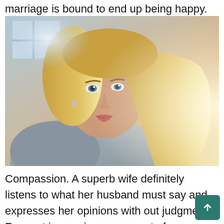marriage is bound to end up being happy.
[Figure (photo): Close-up selfie photo of a young blonde woman in a grey top, taken in bright natural light.]
Compassion. A superb wife definitely listens to what her husband must say and expresses her opinions with out judgment. Respect is a major component of communication, therefore it is